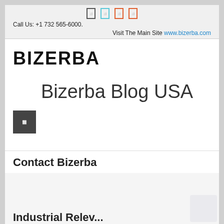Call Us: +1 732 565-6000. Visit The Main Site www.bizerba.com
[Figure (logo): BIZERBA company logo in bold black text]
Bizerba Blog USA
Contact Bizerba
Industrial Relev... (truncated at bottom)